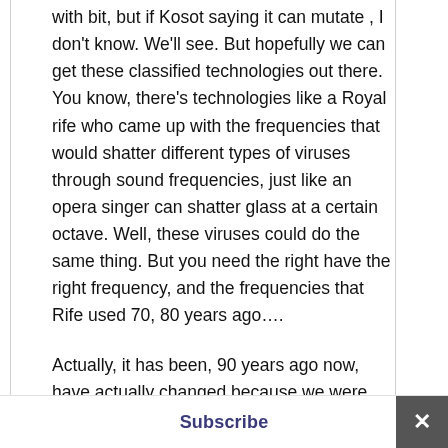with bit, but if Rosot saying it can mutate , I don't know. We'll see. But hopefully we can get these classified technologies out there. You know, there's technologies like a Royal rife who came up with the frequencies that would shatter different types of viruses through sound frequencies, just like an opera singer can shatter glass at a certain octave. Well, these viruses could do the same thing. But you need the right have the right frequency, and the frequencies that Rife used 70, 80 years ago….
Actually, it has been, 90 years ago now, have actually changed because we were traveling through the photon belt and the planet and the galactic energies are changing. So, we can't use
Subscribe